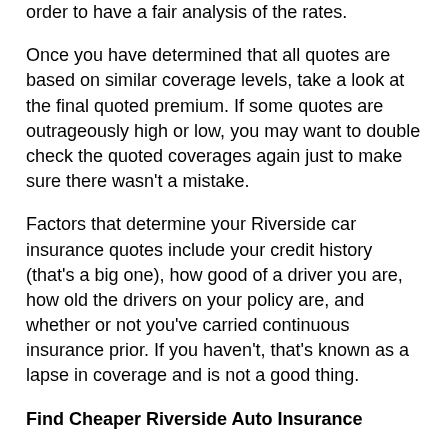order to have a fair analysis of the rates.
Once you have determined that all quotes are based on similar coverage levels, take a look at the final quoted premium. If some quotes are outrageously high or low, you may want to double check the quoted coverages again just to make sure there wasn't a mistake.
Factors that determine your Riverside car insurance quotes include your credit history (that's a big one), how good of a driver you are, how old the drivers on your policy are, and whether or not you've carried continuous insurance prior. If you haven't, that's known as a lapse in coverage and is not a good thing.
Find Cheaper Riverside Auto Insurance
If your online insurance quotes do not meet your expectations, there are other methods of finding Riverside car insurance.